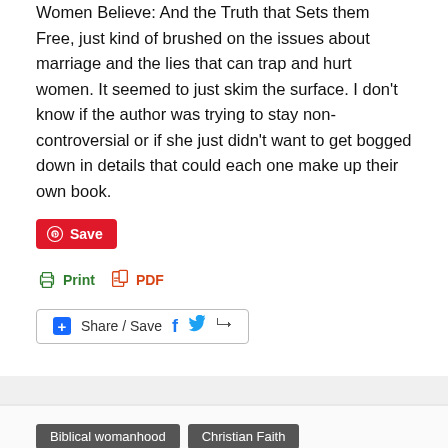Women Believe: And the Truth that Sets them Free, just kind of brushed on the issues about marriage and the lies that can trap and hurt women. It seemed to just skim the surface. I don't know if the author was trying to stay non-controversial or if she just didn't want to get bogged down in details that could each one make up their own book.
[Figure (screenshot): Save button (Pinterest red), Print and PDF links, and Share/Save social bar with Facebook and Twitter icons]
Biblical womanhood   Christian Faith   Lies and Truth
LIES WOMEN BELIEVE ABOUT PRIORITIES